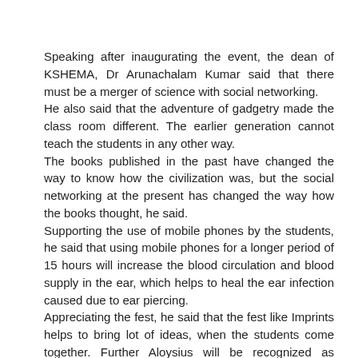Speaking after inaugurating the event, the dean of KSHEMA, Dr Arunachalam Kumar said that there must be a merger of science with social networking.
He also said that the adventure of gadgetry made the class room different. The earlier generation cannot teach the students in any other way.
The books published in the past have changed the way to know how the civilization was, but the social networking at the present has changed the way how the books thought, he said.
Supporting the use of mobile phones by the students, he said that using mobile phones for a longer period of 15 hours will increase the blood circulation and blood supply in the ear, which helps to heal the ear infection caused due to ear piercing.
Appreciating the fest, he said that the fest like Imprints helps to bring lot of ideas, when the students come together. Further Aloysius will be recognized as pioneer centre, he added.